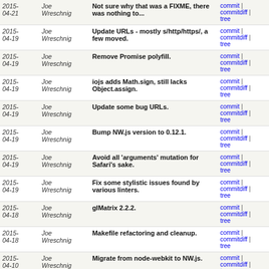| Date | Author | Message | Links |
| --- | --- | --- | --- |
| 2015-04-21 | Joe Wreschnig | Not sure why that was a FIXME, there was nothing to... | commit | commitdiff | tree |
| 2015-04-19 | Joe Wreschnig | Update URLs - mostly s/http/https/, a few moved. | commit | commitdiff | tree |
| 2015-04-19 | Joe Wreschnig | Remove Promise polyfill. | commit | commitdiff | tree |
| 2015-04-19 | Joe Wreschnig | iojs adds Math.sign, still lacks Object.assign. | commit | commitdiff | tree |
| 2015-04-19 | Joe Wreschnig | Update some bug URLs. | commit | commitdiff | tree |
| 2015-04-19 | Joe Wreschnig | Bump NW.js version to 0.12.1. | commit | commitdiff | tree |
| 2015-04-19 | Joe Wreschnig | Avoid all 'arguments' mutation for Safari's sake. | commit | commitdiff | tree |
| 2015-04-19 | Joe Wreschnig | Fix some stylistic issues found by various linters. | commit | commitdiff | tree |
| 2015-04-18 | Joe Wreschnig | glMatrix 2.2.2. | commit | commitdiff | tree |
| 2015-04-18 | Joe Wreschnig | Makefile refactoring and cleanup. | commit | commitdiff | tree |
| 2015-04-10 | Joe Wreschnig | Migrate from node-webkit to NW.js. | commit | commitdiff | tree |
| 2015-04-09 | Joe Wreschnig | Set default make target to all. | commit | commitdiff | tree |
| 2015-04-09 | Joe Wreschnig | Remove notes on now mostly-diagnosed bug. | commit | commitdiff | tree |